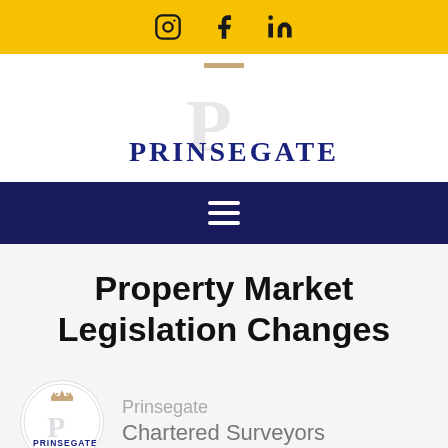Social media icons: Instagram, Facebook, LinkedIn
[Figure (logo): Prinsegate company logo with crown icon and stylized P letter, text PRINSEGATE in navy blue]
[Figure (other): Navy navigation bar with hamburger menu icon (three horizontal white lines)]
Property Market Legislation Changes
[Figure (logo): Prinsegate Chartered Surveyors circular logo with crown and stylized P, in a circle]
Prinsegate
Chartered Surveyors